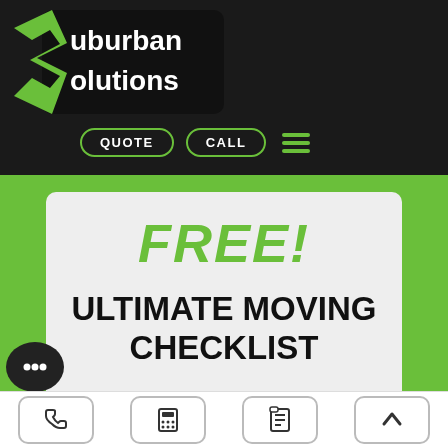[Figure (logo): Suburban Solutions logo with green S shape and white text on dark background]
[Figure (screenshot): Navigation bar with QUOTE and CALL buttons and hamburger menu icon]
FREE!
ULTIMATE MOVING CHECKLIST
[Figure (infographic): Dark button partially visible at bottom of white card]
[Figure (infographic): Chat bubble icon with ellipsis dots in black circle]
[Figure (infographic): Bottom navigation bar with phone, calculator, checklist, and up-arrow icons]